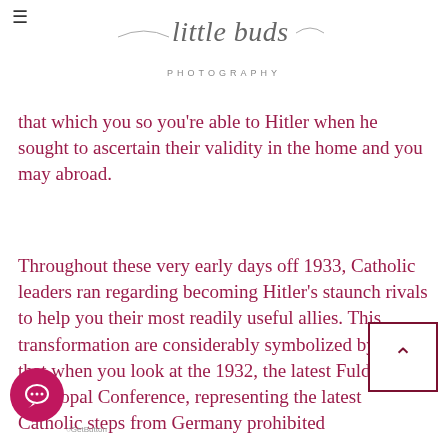little buds PHOTOGRAPHY
that which you so you're able to Hitler when he sought to ascertain their validity in the home and you may abroad.
Throughout these very early days off 1933, Catholic leaders ran regarding becoming Hitler's staunch rivals to help you their most readily useful allies. This transformation are considerably symbolized by fact that when you look at the 1932, the latest Fulda Episcopal Conference, representing the latest Catholic steps from Germany prohibited